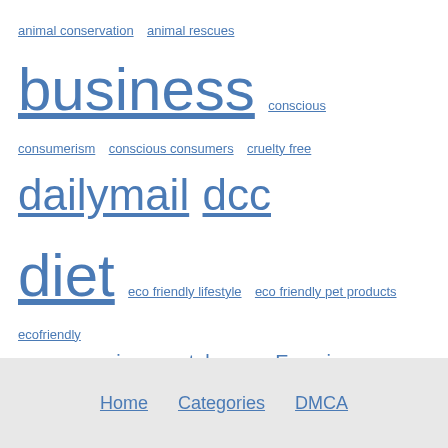animal conservation  animal rescues  business  conscious consumerism  conscious consumers  cruelty free  dailymail  dcc  diet  eco friendly lifestyle  eco friendly pet products  ecofriendly shopping  environmental news  Exercise  fitness  food  gluten free recipes  GMO FREE  go green  green living  green tips  gym  health  Health and Fitness  keto diet  Lifestyle  News  nutrition  Outlook Spotlight  plant-based news  plant based recipes  raw lifestyle  raw vegan recipes  recycling  Sports  Sustainability  vegan  vegan diet  Veganism  vegan products  vegan recipes. vegan food  vegan supplements  weight loss  wire  women
Home   Categories   DMCA